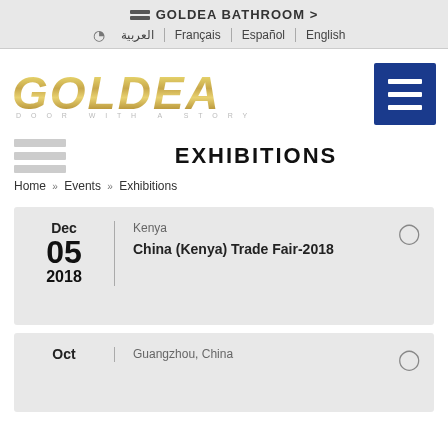GOLDEA BATHROOM > | العربية | Français | Español | English
[Figure (logo): GOLDEA logo in gold metallic italic letters with subtitle 'DOOR WITH A STORY']
EXHIBITIONS
Home » Events » Exhibitions
Dec 05 2018 | Kenya | China (Kenya) Trade Fair-2018
Oct | Guangzhou, China